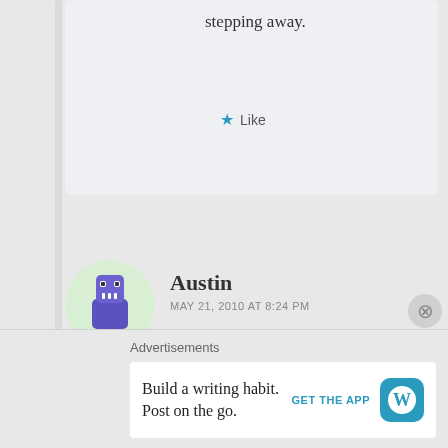stepping away.
★ Like
[Figure (illustration): Avatar of user Austin — cartoon purple robot/creature on light green circular background]
Austin
MAY 21, 2010 AT 8:24 PM
wat is STD?
★ Like
Reply
Advertisements
Build a writing habit.
Post on the go.
GET THE APP